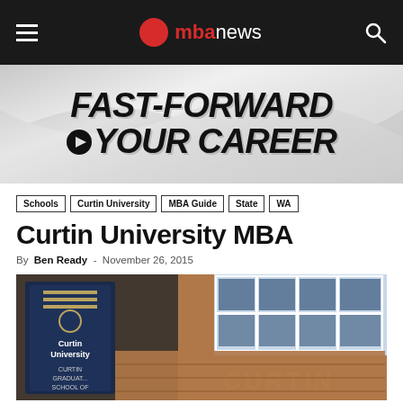mbanews — navigation bar with hamburger menu, MBA News logo, and search icon
[Figure (illustration): Advertisement banner reading FAST-FORWARD YOUR CAREER in bold italic black text on a light gray/silver swirled background]
Schools · Curtin University · MBA Guide · State · WA
Curtin University MBA
By Ben Ready - November 26, 2015
[Figure (photo): Photograph of the exterior of Curtin University's Graduate School of Business building, showing brick facade with windows and a Curtin University signpost reading CURTIN GRADUATE SCHOOL OF BUSINESS]